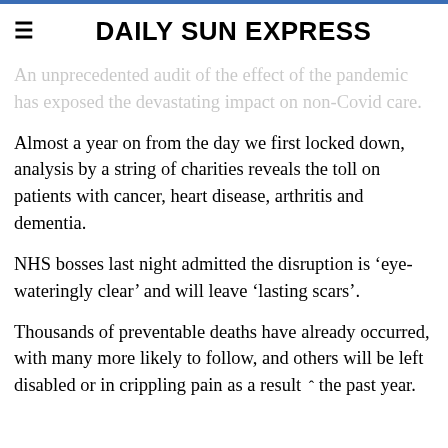DAILY SUN EXPRESS
An unprecedented audit of the effect of the pandemic has exposed the devastating impact on non-Covid care.
Almost a year on from the day we first locked down, analysis by a string of charities reveals the toll on patients with cancer, heart disease, arthritis and dementia.
NHS bosses last night admitted the disruption is ‘eye-wateringly clear’ and will leave ‘lasting scars’.
Thousands of preventable deaths have already occurred, with many more likely to follow, and others will be left disabled or in crippling pain as a result ˆ the past year.